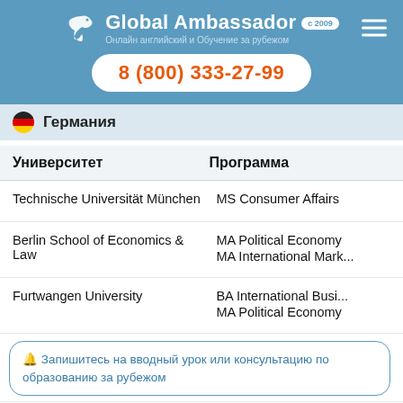[Figure (logo): Global Ambassador logo with dove icon, tagline in Russian, badge 'с 2009', and hamburger menu icon]
8 (800) 333-27-99
Германия
| Университет | Программа |
| --- | --- |
| Technische Universität München | MS Consumer Affairs |
| Berlin School of Economics & Law | MA Political Economy
MA International Mark... |
| Furtwangen University | BA International Busi...
MA Political Economy |
🔔 Запишитесь на вводный урок или консультацию по образованию за рубежом
| Университет | Программа |
| --- | --- |
| University of Leipzig | MS Sustainable Deve... |